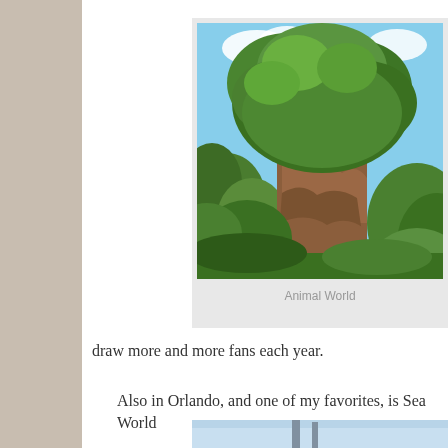[Figure (photo): Photograph of a large tree (Tree of Life at Disney's Animal Kingdom) with lush green foliage against a blue sky, surrounded by smaller trees and rocky terrain.]
Animal World
draw more and more fans each year.
Also in Orlando, and one of my favorites, is Sea World
[Figure (photo): Partial photograph visible at bottom of page, appears to show a bright outdoor scene.]